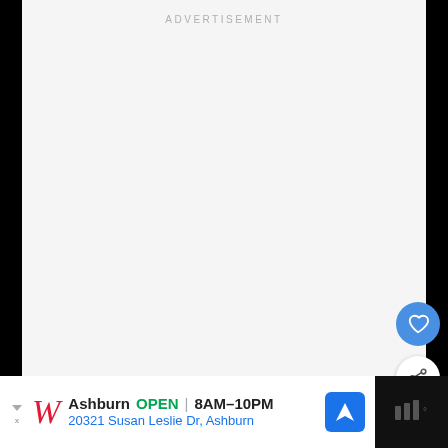[Figure (other): Advertisement placeholder — large light grey empty rectangle with 'ADVERTISEMENT' label at top center]
[Figure (other): Blue circular FAB button with white heart icon]
[Figure (other): White circular FAB button with share/add icon]
[Figure (other): Walgreens ad banner at bottom: 'Ashburn OPEN 8AM-10PM 20321 Susan Leslie Dr, Ashburn' with Walgreens logo and navigation arrow icon]
[Figure (other): Dark right section of bottom bar with dots/menu icon]